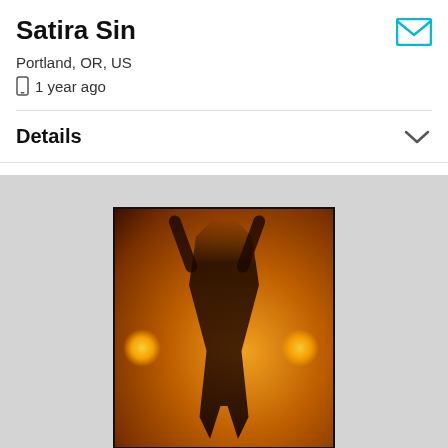Satira Sin
Portland, OR, US
1 year ago
Details
[Figure (photo): A woman in a dark lace top and shorts posing with arms raised in a warmly lit hotel room with orange/amber ambient lighting from wall lamps.]